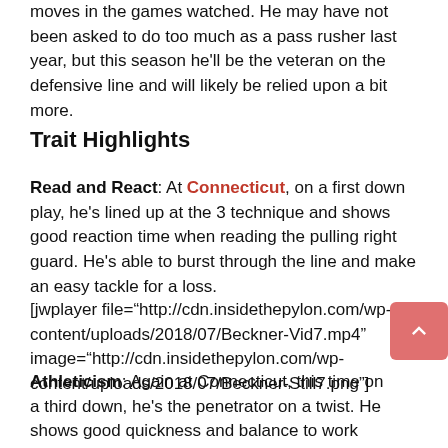moves in the games watched. He may have not been asked to do too much as a pass rusher last year, but this season he'll be the veteran on the defensive line and will likely be relied upon a bit more.
Trait Highlights
Read and React: At Connecticut, on a first down play, he's lined up at the 3 technique and shows good reaction time when reading the pulling right guard. He's able to burst through the line and make an easy tackle for a loss.
[jwplayer file="http://cdn.insidethepylon.com/wp-content/uploads/2018/07/Beckner-Vid7.mp4" image="http://cdn.insidethepylon.com/wp-content/uploads/2018/07/Beckner-Still7.png"]
Athleticism: Again at Connecticut, this time on a third down, he's the penetrator on a twist. He shows good quickness and balance to work through the LOS while keeping his eyes on the quarterback. Shows off his athleticism getting up to knock down the pass and nearly get the interception.